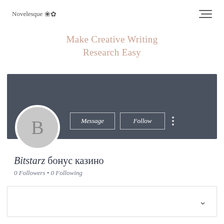Novelesque [flower icon] [hamburger menu]
Make Creative Writing Research Easy
[Figure (screenshot): User profile page screenshot on Novelesque website showing a dark gray banner header, circular avatar with letter B, Message and Follow buttons, username 'Bitstarz бонус казино', 0 Followers • 0 Following, and a collapsed content box with chevron]
Bitstarz бонус казино
0 Followers • 0 Following